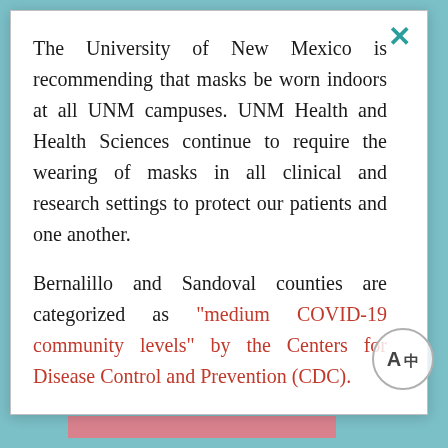The University of New Mexico is recommending that masks be worn indoors at all UNM campuses. UNM Health and Health Sciences continue to require the wearing of masks in all clinical and research settings to protect our patients and one another.
Bernalillo and Sandoval counties are categorized as "medium COVID-19 community levels" by the Centers for Disease Control and Prevention (CDC).
Find a Doctor